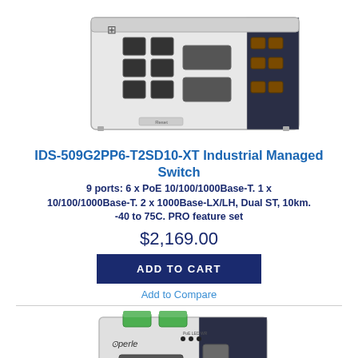[Figure (photo): Top-view photo of IDS-509G2PP6-T2SD10-XT Industrial Managed Switch showing ports and connectors on white/dark blue chassis]
IDS-509G2PP6-T2SD10-XT Industrial Managed Switch
9 ports: 6 x PoE 10/100/1000Base-T. 1 x 10/100/1000Base-T. 2 x 1000Base-LX/LH, Dual ST, 10km. -40 to 75C. PRO feature set
$2,169.00
ADD TO CART
Add to Compare
[Figure (photo): Front/side view photo of a Perle industrial network switch with green terminal connectors on top, showing Ethernet ports and fiber connectors]